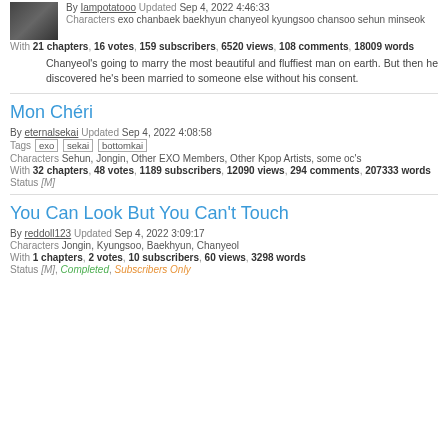By Iampotatooo Updated Sep 4, 2022 4:46:33
Characters exo chanbaek baekhyun chanyeol kyungsoo chansoo sehun minseok
With 21 chapters, 16 votes, 159 subscribers, 6520 views, 108 comments, 18009 words
Chanyeol's going to marry the most beautiful and fluffiest man on earth. But then he discovered he's been married to someone else without his consent.
Mon Chéri
By eternalsekai Updated Sep 4, 2022 4:08:58
Tags exo sekai bottomkai
Characters Sehun, Jongin, Other EXO Members, Other Kpop Artists, some oc's
With 32 chapters, 48 votes, 1189 subscribers, 12090 views, 294 comments, 207333 words
Status [M]
You Can Look But You Can't Touch
By reddoll123 Updated Sep 4, 2022 3:09:17
Characters Jongin, Kyungsoo, Baekhyun, Chanyeol
With 1 chapters, 2 votes, 10 subscribers, 60 views, 3298 words
Status [M], Completed, Subscribers Only